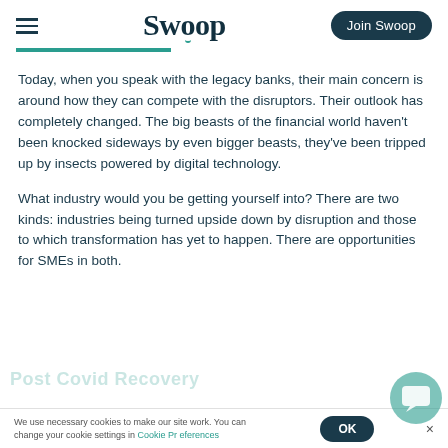Swoop | Join Swoop
Today, when you speak with the legacy banks, their main concern is around how they can compete with the disruptors. Their outlook has completely changed. The big beasts of the financial world haven't been knocked sideways by even bigger beasts, they've been tripped up by insects powered by digital technology.
What industry would you be getting yourself into? There are two kinds: industries being turned upside down by disruption and those to which transformation has yet to happen. There are opportunities for SMEs in both.
We use necessary cookies to make our site work. You can change your cookie settings in Cookie Preferences